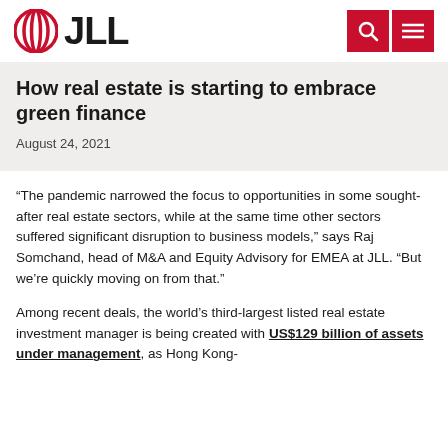JLL
How real estate is starting to embrace green finance
August 24, 2021
“The pandemic narrowed the focus to opportunities in some sought-after real estate sectors, while at the same time other sectors suffered significant disruption to business models,” says Raj Somchand, head of M&A and Equity Advisory for EMEA at JLL. “But we’re quickly moving on from that.”
Among recent deals, the world’s third-largest listed real estate investment manager is being created with US$129 billion of assets under management, as Hong Kong-